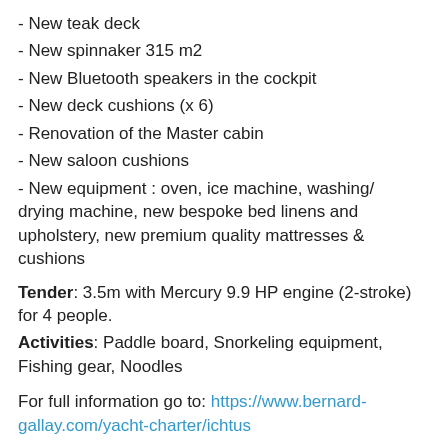- New teak deck
- New spinnaker 315 m2
- New Bluetooth speakers in the cockpit
- New deck cushions (x 6)
- Renovation of the Master cabin
- New saloon cushions
- New equipment : oven, ice machine, washing/drying machine, new bespoke bed linens and upholstery, new premium quality mattresses & cushions
Tender: 3.5m with Mercury 9.9 HP engine (2-stroke) for 4 people.
Activities: Paddle board, Snorkeling equipment, Fishing gear, Noodles
For full information go to: https://www.bernard-gallay.com/yacht-charter/ichtus